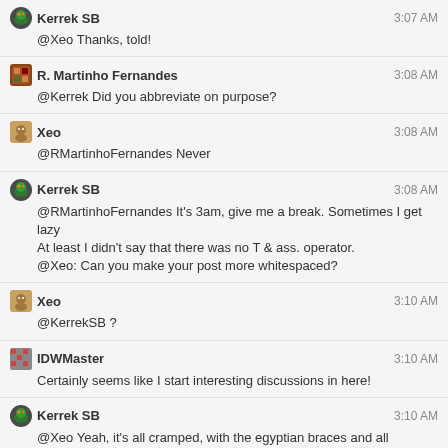Kerrek SB 3:07 AM
@Xeo Thanks, told!
R. Martinho Fernandes 3:08 AM
@Kerrek Did you abbreviate on purpose?
Xeo 3:08 AM
@RMartinhoFernandes Never
Kerrek SB 3:08 AM
@RMartinhoFernandes It's 3am, give me a break. Sometimes I get lazy
At least I didn't say that there was no T & ass. operator.
@Xeo: Can you make your post more whitespaced?
Xeo 3:10 AM
@KerrekSB ?
IDWMaster 3:10 AM
Certainly seems like I start interesting discussions in here!
Kerrek SB 3:10 AM
@Xeo Yeah, it's all cramped, with the egyptian braces and all
IDWMaster 3:10 AM
It's an honor that it even lead to the room topic being changed!
Xeo 3:10 AM